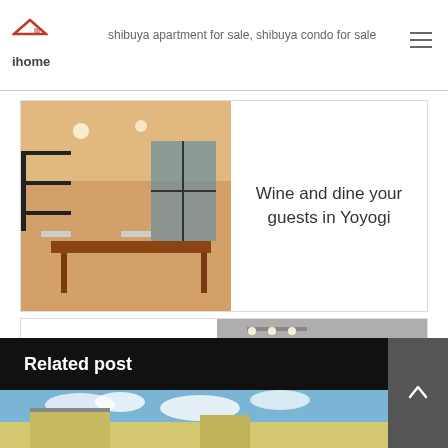shibuya apartment for sale, shibuya condo for sale
[Figure (photo): Interior dining room with wooden table, chairs, and large windows - Yoyogi apartment]
Wine and dine your guests in Yoyogi
Live the laid back life in Kagurazaka
[Figure (photo): Modern white kitchen with island counter - Kagurazaka apartment]
Related post
[Figure (photo): Exterior building photo with blue sky and clouds]